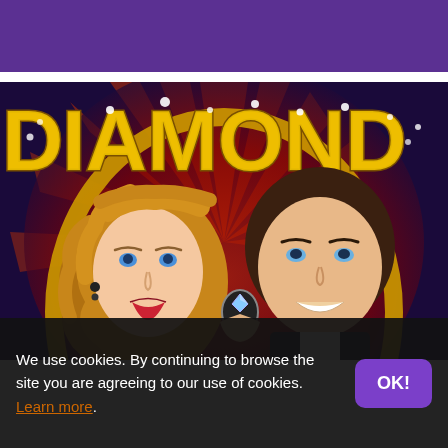[Figure (illustration): Casino slot game promotional image showing the word DIAMOND in large gold letters with diamond gem accents, on a dark blue/purple background with red starburst rays. An illustrated couple — a blonde woman and a dark-haired man in a suit — holding a diamond ring between them.]
We use cookies. By continuing to browse the site you are agreeing to our use of cookies. Learn more.
OK!